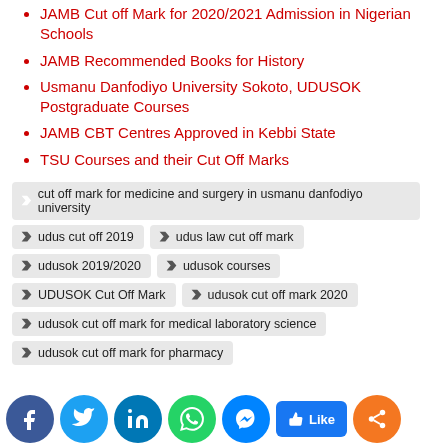JAMB Cut off Mark for 2020/2021 Admission in Nigerian Schools
JAMB Recommended Books for History
Usmanu Danfodiyo University Sokoto, UDUSOK Postgraduate Courses
JAMB CBT Centres Approved in Kebbi State
TSU Courses and their Cut Off Marks
cut off mark for medicine and surgery in usmanu danfodiyo university
udus cut off 2019
udus law cut off mark
udusok 2019/2020
udusok courses
UDUSOK Cut Off Mark
udusok cut off mark 2020
udusok cut off mark for medical laboratory science
udusok cut off mark for pharmacy